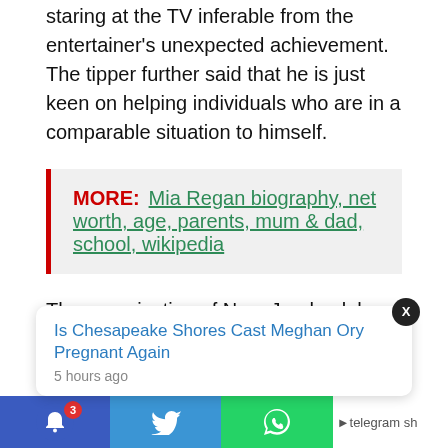staring at the TV inferable from the entertainer's unexpected achievement. The tipper further said that he is just keen on helping individuals who are in a comparable situation to himself.
MORE:  Mia Regan biography, net worth, age, parents, mum & dad, school, wikipedia
The organization of Nam Joo-hyuk has given the main explanation on his school harassing occurrence. Nam Joo-office, hyuk's Management SOOP, has given its most memorable remark in light of his tormenting charges. They said that they know about the cases against the entertainer and are examining their legitimacy
Is Chesapeake Shores Cast Meghan Ory Pregnant Again
5 hours ago